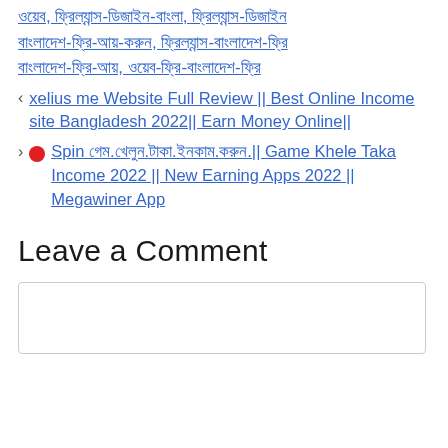ওয়েব, ফ্রিল্যান্স-ডিজাইন-বাংলা, ফ্রিল্যান্স-ডিজাইন বাংলাদেশ-ফ্রি-আয়-করুন, ফ্রিল্যান্স-বাংলাদেশ-ফ্রি বাংলাদেশ-ফ্রি-আয়, ওয়েব-ফ্রি-বাংলাদেশ-ফ্রি
xelius me Website Full Review || Best Online Income site Bangladesh 2022|| Earn Money Online||
🔴Spin গেম.খেলুন.টাকা.ইনকাম.করুন.|| Game Khele Taka Income 2022 || New Earning Apps 2022 || Megawiner App
Leave a Comment
[comment text area]